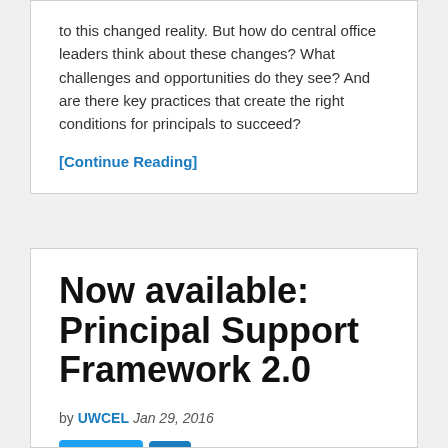to this changed reality. But how do central office leaders think about these changes? What challenges and opportunities do they see? And are there key practices that create the right conditions for principals to succeed?
[Continue Reading]
Now available: Principal Support Framework 2.0
by UWCEL Jan 29, 2016